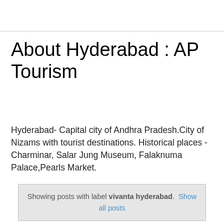About Hyderabad : AP Tourism
Hyderabad- Capital city of Andhra Pradesh.City of Nizams with tourist destinations. Historical places - Charminar, Salar Jung Museum, Falaknuma Palace,Pearls Market.
Showing posts with label vivanta hyderabad. Show all posts
Wednesday, April 10, 2013
Taj Vivanta Hyderabad Room Rates - 5 Star Hotels in Hyderabad